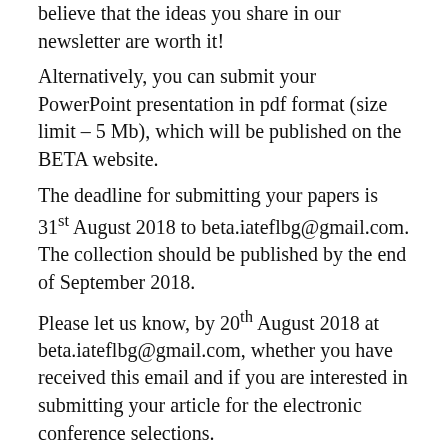believe that the ideas you share in our newsletter are worth it!
Alternatively, you can submit your PowerPoint presentation in pdf format (size limit – 5 Mb), which will be published on the BETA website.
The deadline for submitting your papers is 31st August 2018 to beta.iateflbg@gmail.com. The collection should be published by the end of September 2018.
Please let us know, by 20th August 2018 at beta.iateflbg@gmail.com, whether you have received this email and if you are interested in submitting your article for the electronic conference selections.
Kind regards,
Polly Petcova
BETA Editorial Team